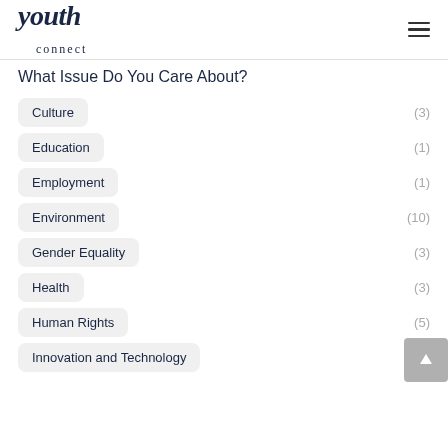youth connect
What Issue Do You Care About?
Culture (3)
Education (1)
Employment (1)
Environment (10)
Gender Equality (3)
Health (3)
Human Rights (5)
Innovation and Technology (3)